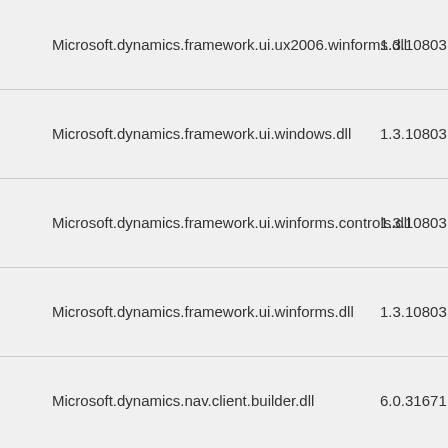| Name | Version |
| --- | --- |
| Microsoft.dynamics.framework.ui.ux2006.winforms.dll | 1.3.10803… |
| Microsoft.dynamics.framework.ui.windows.dll | 1.3.10803… |
| Microsoft.dynamics.framework.ui.winforms.controls.dll | 1.3.10803… |
| Microsoft.dynamics.framework.ui.winforms.dll | 1.3.10803… |
| Microsoft.dynamics.nav.client.builder.dll | 6.0.31671… |